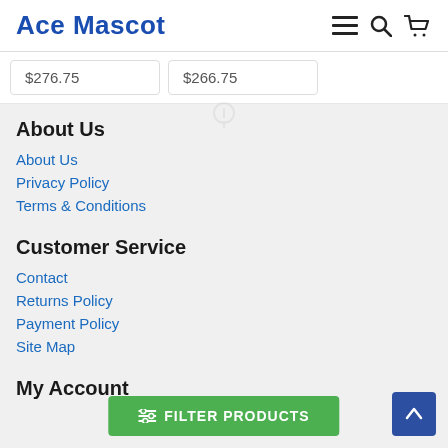Ace Mascot
$276.75   $266.75
About Us
About Us
Privacy Policy
Terms & Conditions
Customer Service
Contact
Returns Policy
Payment Policy
Site Map
My Account